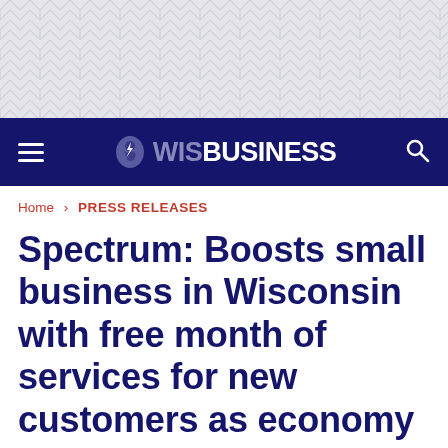[Figure (other): Decorative geometric pattern background in light gray]
WIS BUSINESS navigation bar with hamburger menu, WisBusiness logo, and search icon
Home › PRESS RELEASES
Spectrum: Boosts small business in Wisconsin with free month of services for new customers as economy reopens